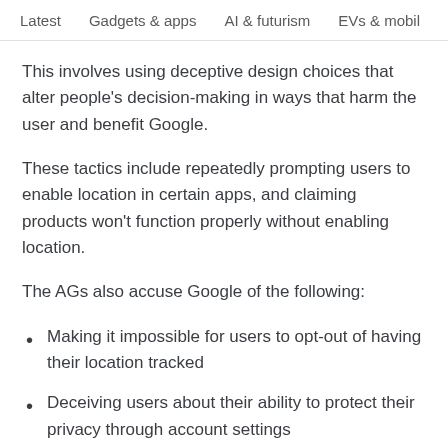Latest   Gadgets & apps   AI & futurism   EVs & mobil  >
This involves using deceptive design choices that alter people's decision-making in ways that harm the user and benefit Google.
These tactics include repeatedly prompting users to enable location in certain apps, and claiming products won't function properly without enabling location.
The AGs also accuse Google of the following:
Making it impossible for users to opt-out of having their location tracked
Deceiving users about their ability to protect their privacy through account settings